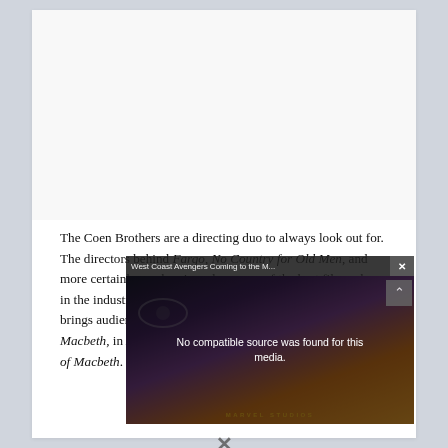[Figure (other): Advertisement/blank white area at top of page within white card]
The Coen Brothers are a directing duo to always look out for. The directors behind Fargo, No Country for Old Men, and more certainly can be viewed as some of the best filmmakers in the industry. Now half of this duo returns, as Joel Coen brings audiences his take on the famous Shakespeare story Macbeth, in A24 and Apple TV+'s new drama The Tragedy of Macbeth.
[Figure (screenshot): Video player overlay popup with title 'West Coast Avengers Coming to the M...' showing 'No compatible source was found for this media.' message over a Marvel Studios thumbnail background, with a close X button and scroll arrow]